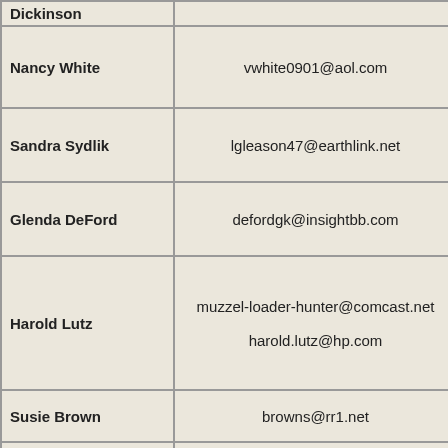| Name | Email | Link |
| --- | --- | --- |
| Dickinson |  |  |
| Nancy White | vwhite0901@aol.com | njskinnerwhite47... / vwhite0901@... |
| Sandra Sydlik | lgleason47@earthlink.net | rileycat9@g... |
| Glenda DeFord | defordgk@insightbb.com | gkdeford@co... |
| Harold Lutz | muzzel-loader-hunter@comcast.net
harold.lutz@hp.com | H.Lutz@com... |
| Susie Brown | browns@rr1.net | msbrown.62428@... |
| Pete Ross [NEW] | pmross@frontier.net
pmross@q.com
pmross@optimum.net
pete@acw70indiana.com
reetposs@charter.net | pete@acw70in... |
| Donna M... | dmfoxy@cox.net | dmfoxy@... |